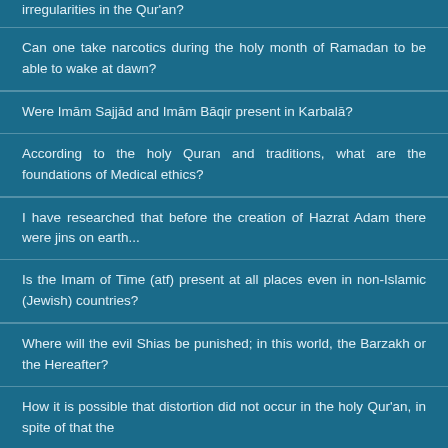irregularities in the Qur'an?
Can one take narcotics during the holy month of Ramadan to be able to wake at dawn?
Were Imām Sajjād and Imām Bāqir present in Karbalā?
According to the holy Quran and traditions, what are the foundations of Medical ethics?
I have researched that before the creation of Hazrat Adam there were jins on earth...
Is the Imam of Time (atf) present at all places even in non-Islamic (Jewish) countries?
Where will the evil Shias be punished; in this world, the Barzakh or the Hereafter?
How it is possible that distortion did not occur in the holy Qur'an, in spite of that the